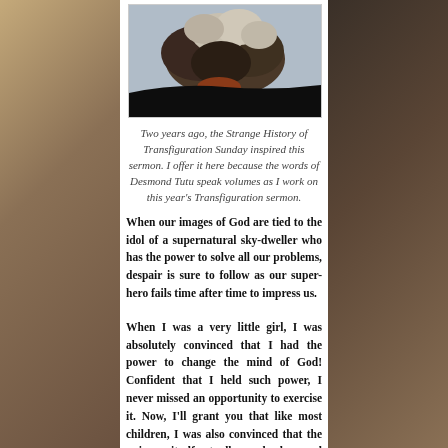[Figure (photo): Photograph of a volcanic eruption or large explosion with dark smoke and ash cloud rising against a sky, dark landscape silhouette at bottom]
Two years ago, the Strange History of Transfiguration Sunday inspired this sermon. I offer it here because the words of Desmond Tutu speak volumes as I work on this year's Transfiguration sermon.
When our images of God are tied to the idol of a supernatural sky-dweller who has the power to solve all our problems, despair is sure to follow as our super-hero fails time after time to impress us.
When I was a very little girl, I was absolutely convinced that I had the power to change the mind of God! Confident that I held such power, I never missed an opportunity to exercise it. Now, I'll grant you that like most children, I was also convinced that the universe itself actually revolved around me, so believing that I was powerful enough to change God's